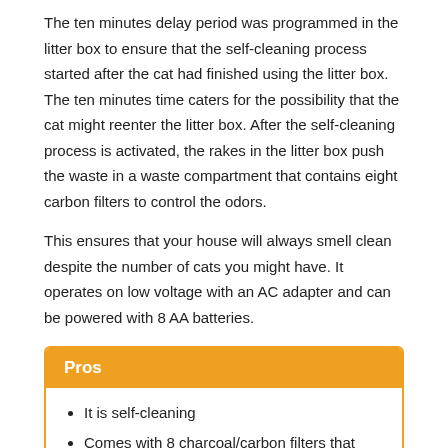The ten minutes delay period was programmed in the litter box to ensure that the self-cleaning process started after the cat had finished using the litter box. The ten minutes time caters for the possibility that the cat might reenter the litter box. After the self-cleaning process is activated, the rakes in the litter box push the waste in a waste compartment that contains eight carbon filters to control the odors.
This ensures that your house will always smell clean despite the number of cats you might have. It operates on low voltage with an AC adapter and can be powered with 8 AA batteries.
Pros
It is self-cleaning
Comes with 8 charcoal/carbon filters that control odor
10-minute cleaning delay just in case the cat returns to the litter box